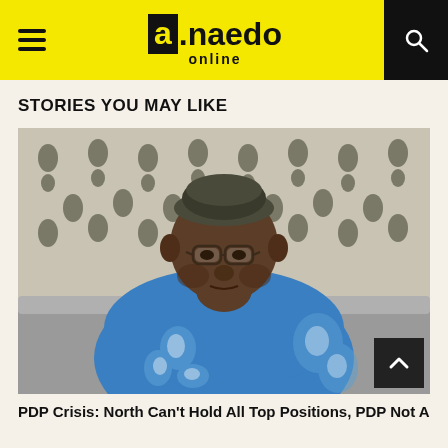a.naedo online
STORIES YOU MAY LIKE
[Figure (photo): An elderly man wearing glasses and a dark cap, dressed in a blue traditional garment, seated on a grey leather sofa with a patterned curtain in the background.]
PDP Crisis: North Can't Hold All Top Positions, PDP Not A